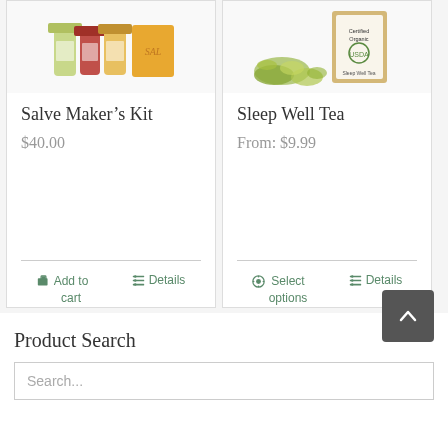[Figure (photo): Product photo showing small bottles and a yellow soap bar — Salve Maker's Kit]
Salve Maker's Kit
$40.00
Add to cart
Details
[Figure (photo): Product photo showing dried herbs/tea and a cardboard package — Sleep Well Tea]
Sleep Well Tea
From: $9.99
Select options
Details
Product Search
Search...